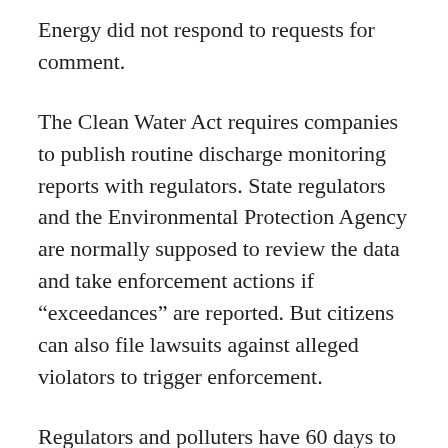Energy did not respond to requests for comment.
The Clean Water Act requires companies to publish routine discharge monitoring reports with regulators. State regulators and the Environmental Protection Agency are normally supposed to review the data and take enforcement actions if “exceedances” are reported. But citizens can also file lawsuits against alleged violators to trigger enforcement.
Regulators and polluters have 60 days to respond after the groups file their notice of intent to sue.
Morgan told Reuters that the exceedance the groups saw in the companies’ discharge reports “shocked”